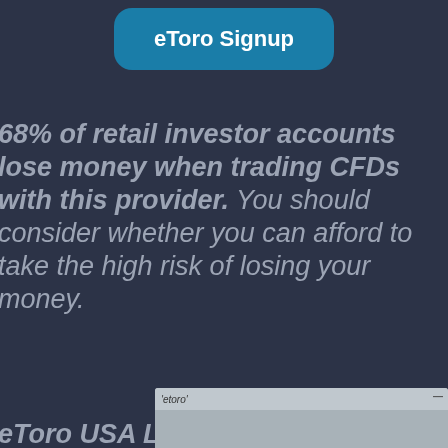[Figure (other): eToro Signup button — rounded teal/dark-blue button with white bold text]
68% of retail investor accounts lose money when trading CFDs with this provider. You should consider whether you can afford to take the high risk of losing your money.
eToro USA LLC does not offer CFDs, only real Cryptocurrencies are available for US users.
[Figure (screenshot): Partial eToro widget at bottom of page, grey background with 'etoro' label and close button]